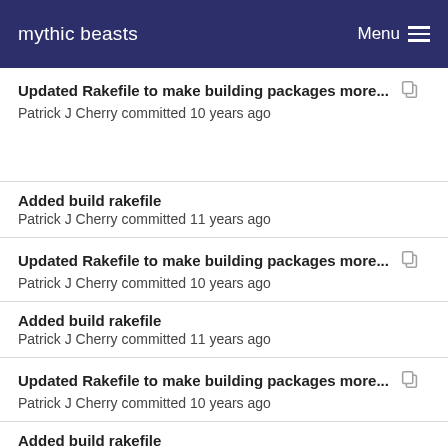mythic beasts  Menu
Updated Rakefile to make building packages more...
Patrick J Cherry committed 10 years ago
Added build rakefile
Patrick J Cherry committed 11 years ago
Updated Rakefile to make building packages more...
Patrick J Cherry committed 10 years ago
Added build rakefile
Patrick J Cherry committed 11 years ago
Updated Rakefile to make building packages more...
Patrick J Cherry committed 10 years ago
Added build rakefile
Patrick J Cherry committed 11 years ago